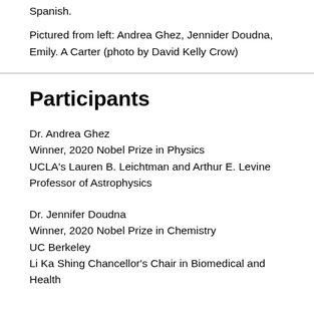Spanish.
Pictured from left: Andrea Ghez, Jennider Doudna, Emily. A Carter (photo by David Kelly Crow)
Participants
Dr. Andrea Ghez
Winner, 2020 Nobel Prize in Physics
UCLA's Lauren B. Leichtman and Arthur E. Levine Professor of Astrophysics
Dr. Jennifer Doudna
Winner, 2020 Nobel Prize in Chemistry
UC Berkeley
Li Ka Shing Chancellor's Chair in Biomedical and Health